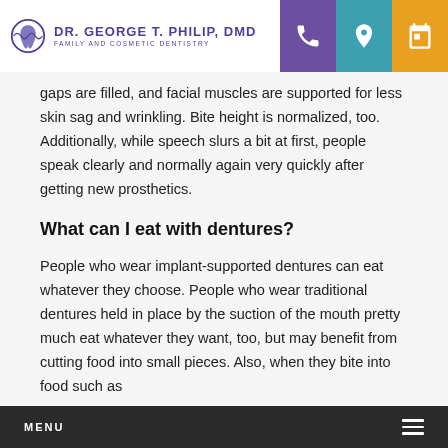DR. GEORGE T. PHILIP, DMD — FAMILY AND COSMETIC DENTISTRY
gaps are filled, and facial muscles are supported for less skin sag and wrinkling. Bite height is normalized, too. Additionally, while speech slurs a bit at first, people speak clearly and normally again very quickly after getting new prosthetics.
What can I eat with dentures?
People who wear implant-supported dentures can eat whatever they choose. People who wear traditional dentures held in place by the suction of the mouth pretty much eat whatever they want, too, but may benefit from cutting food into small pieces. Also, when they bite into food such as
MENU